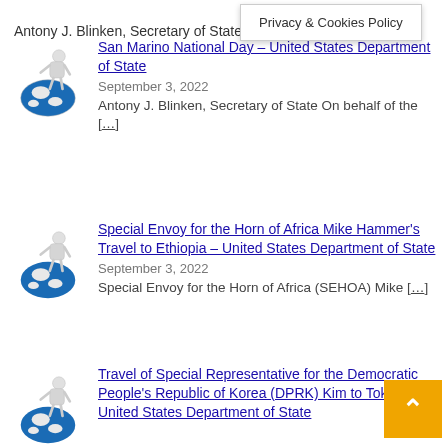September 4
Privacy & Cookies Policy
Antony J. Blinken, Secretary of State we welcome the [...]
San Marino National Day – United States Department of State
September 3, 2022
Antony J. Blinken, Secretary of State On behalf of the [...]
Special Envoy for the Horn of Africa Mike Hammer's Travel to Ethiopia – United States Department of State
September 3, 2022
Special Envoy for the Horn of Africa (SEHOA) Mike [...]
Travel of Special Representative for the Democratic People's Republic of Korea (DPRK) Kim to Tokyo – United States Department of State